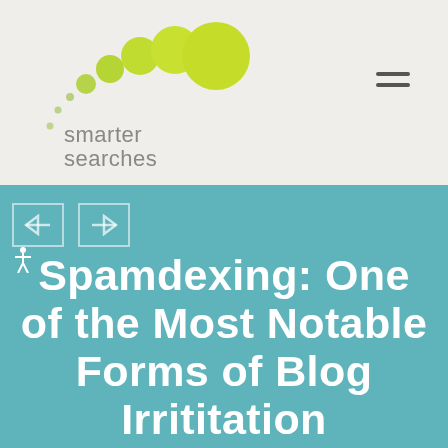[Figure (logo): Smarter Searches logo: arc of lime-green circles of increasing size, with dotted trail, beside the text 'smarter searches' in grey]
Spamdexing: One of the Most Notable Forms of Blog Irrititation